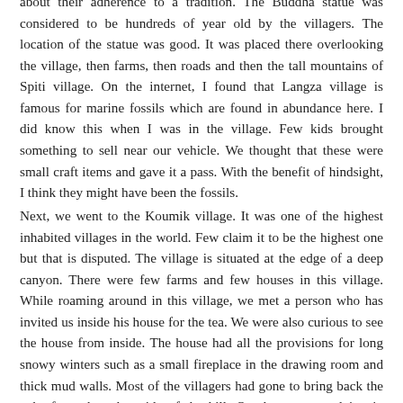about their adherence to a tradition. The Buddha statue was considered to be hundreds of year old by the villagers. The location of the statue was good. It was placed there overlooking the village, then farms, then roads and then the tall mountains of Spiti village. On the internet, I found that Langza village is famous for marine fossils which are found in abundance here. I did know this when I was in the village. Few kids brought something to sell near our vehicle. We thought that these were small craft items and gave it a pass. With the benefit of hindsight, I think they might have been the fossils.
Next, we went to the Koumik village. It was one of the highest inhabited villages in the world. Few claim it to be the highest one but that is disputed. The village is situated at the edge of a deep canyon. There were few farms and few houses in this village. While roaming around in this village, we met a person who has invited us inside his house for the tea. We were also curious to see the house from inside. The house had all the provisions for long snowy winters such as a small fireplace in the drawing room and thick mud walls. Most of the villagers had gone to bring back the yaks from the other side of the hill. Our host was studying in Shimla